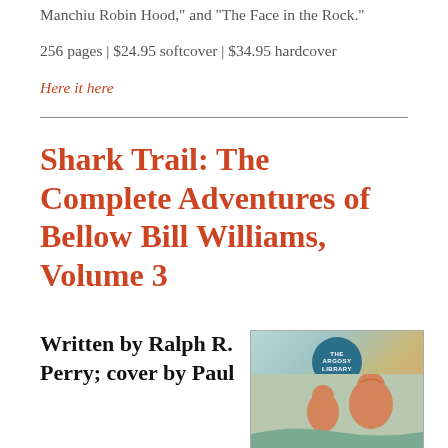Manchiu Robin Hood," and "The Face in the Rock."
256 pages | $24.95 softcover | $34.95 hardcover
Here it here
Shark Trail: The Complete Adventures of Bellow Bill Williams, Volume 3
Written by Ralph R. Perry; cover by Paul
[Figure (illustration): Book cover showing the Argosy Library badge at top and two figures in a dramatic scene below, with blue-green and warm ochre tones.]